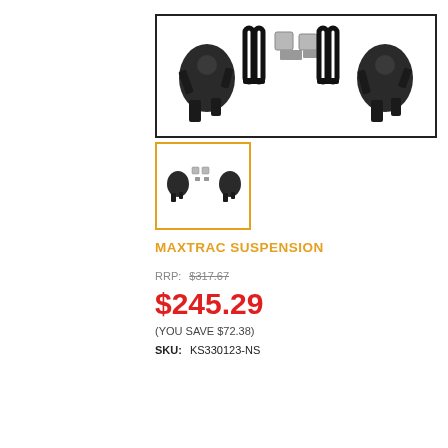[Figure (photo): Main product photo showing MaxTrac suspension lowering kit with spindles, U-bolts, and blocks on white background]
[Figure (photo): Thumbnail product photo showing smaller view of MaxTrac suspension spindles with orange border]
MAXTRAC SUSPENSION
RRP: $317.67
$245.29
(YOU SAVE $72.38)
SKU: KS330123-NS